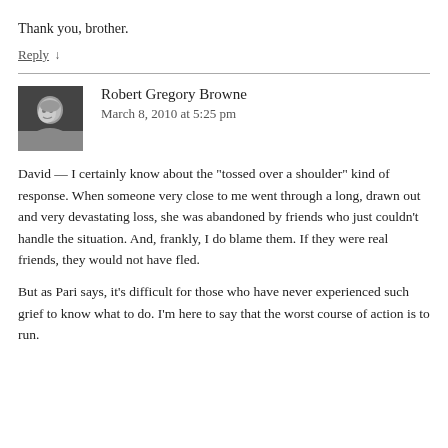Thank you, brother.
Reply ↓
[Figure (photo): Black and white avatar photo of Robert Gregory Browne]
Robert Gregory Browne
March 8, 2010 at 5:25 pm
David — I certainly know about the "tossed over a shoulder" kind of response. When someone very close to me went through a long, drawn out and very devastating loss, she was abandoned by friends who just couldn't handle the situation. And, frankly, I do blame them. If they were real friends, they would not have fled.
But as Pari says, it's difficult for those who have never experienced such grief to know what to do. I'm here to say that the worst course of action is to run.